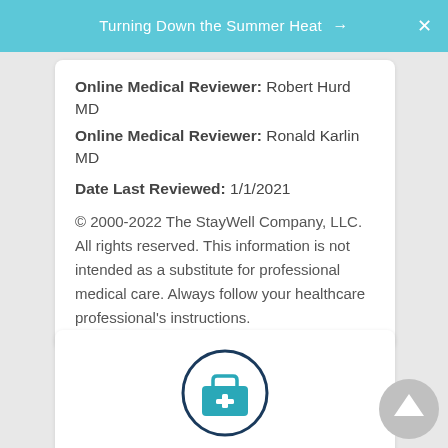Turning Down the Summer Heat →
Online Medical Reviewer: Robert Hurd MD
Online Medical Reviewer: Ronald Karlin MD
Date Last Reviewed: 1/1/2021
© 2000-2022 The StayWell Company, LLC. All rights reserved. This information is not intended as a substitute for professional medical care. Always follow your healthcare professional's instructions.
[Figure (illustration): Medical briefcase / first aid kit icon inside a dark navy circle, for Ask My Nurse feature]
Ask My Nurse